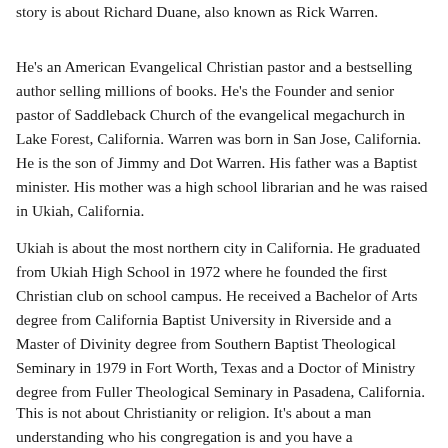story is about Richard Duane, also known as Rick Warren.
He's an American Evangelical Christian pastor and a bestselling author selling millions of books. He's the Founder and senior pastor of Saddleback Church of the evangelical megachurch in Lake Forest, California. Warren was born in San Jose, California. He is the son of Jimmy and Dot Warren. His father was a Baptist minister. His mother was a high school librarian and he was raised in Ukiah, California.
Ukiah is about the most northern city in California. He graduated from Ukiah High School in 1972 where he founded the first Christian club on school campus. He received a Bachelor of Arts degree from California Baptist University in Riverside and a Master of Divinity degree from Southern Baptist Theological Seminary in 1979 in Fort Worth, Texas and a Doctor of Ministry degree from Fuller Theological Seminary in Pasadena, California.
This is not about Christianity or religion. It's about a man understanding who his congregation is and you have a congregation. Your congregation